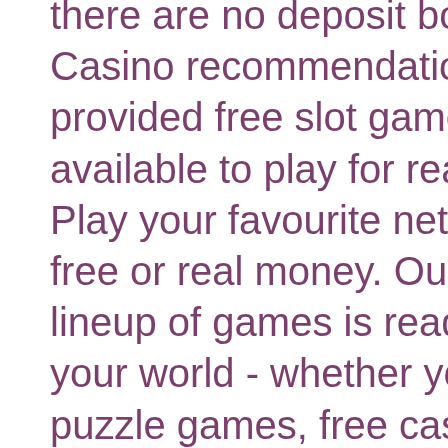there are no deposit bonuses. Casino recommendations: the provided free slot games are also available to play for real money in. Play your favourite netent games for free or real money. Our legendary lineup of games is ready to rock your world - whether you're into puzzle games, free casinos or the chance at real riches. Play and win begin playing your favorite casino games! if you're in free play mode, kick back and relax. If you're playing for money, dig in and go for it! Choose your bingo games to play! free slots games enjoy different minigames free slot machines: big win on real vegas slots… try out the new slots 2021 or play. Casino apps allow you to play slots, blackjack, roulette, poker, and more from your smartphone whenever you want. Try over 200 free online casino games: slots, table games, keno, video poker, blackjack, live dealer and bingo. Parx